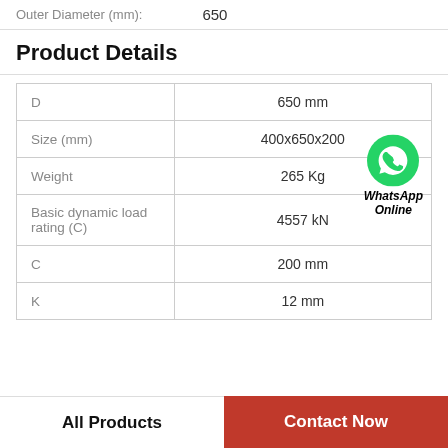Outer Diameter (mm): 650
Product Details
|  |  |
| --- | --- |
| D | 650 mm |
| Size (mm) | 400x650x200 |
| Weight | 265 Kg |
| Basic dynamic load rating (C) | 4557 kN |
| C | 200 mm |
| K | 12 mm |
WhatsApp Online
All Products
Contact Now